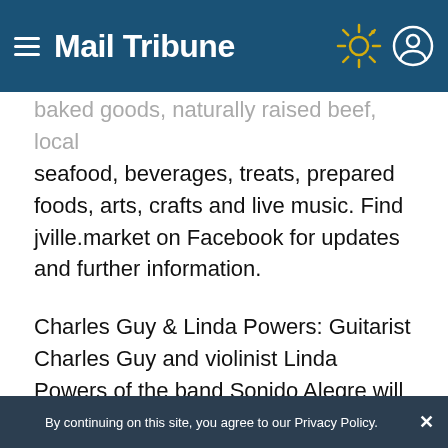Mail Tribune
baked goods, naturally raised beef, local seafood, beverages, treats, prepared foods, arts, crafts and live music. Find jville.market on Facebook for updates and further information.
Charles Guy & Linda Powers: Guitarist Charles Guy and violinist Linda Powers of the band Sonido Alegre will perform original music and select covers with Latin, Spanish, flamenco and Gypsy influences at 2 p.m. Sunday, May 29, at Bayer Family Estate Winery, 11663 Agate Road, Eagle Point. See bayerfamilyestate.com or call
By continuing on this site, you agree to our Privacy Policy.